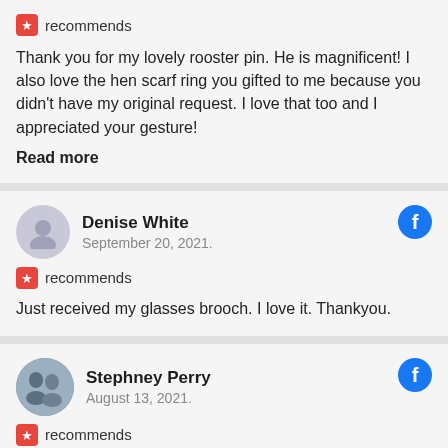Thank you for my lovely rooster pin. He is magnificent! I also love the hen scarf ring you gifted to me because you didn't have my original request. I love that too and I appreciated your gesture!
Read more
Denise White
September 20, 2021.
recommends
Just received my glasses brooch. I love it. Thankyou.
Stephney Perry
August 13, 2021.
recommends
My beautiful Wren Scarf Pin just arrived and it is stunning! I bought this in memory of my fiancé who only passed away a few weeks ago. Michael Wren, so of course it had to be